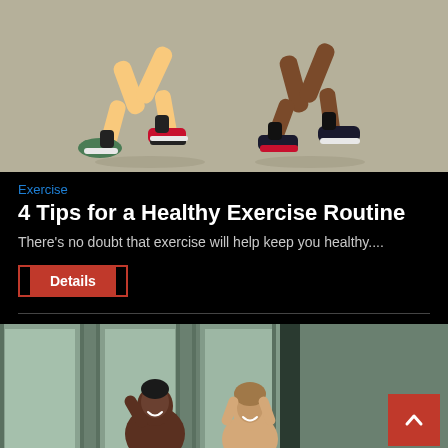[Figure (illustration): Illustration of two people running, showing legs with sneakers on a grey background]
Exercise
4 Tips for a Healthy Exercise Routine
There’s no doubt that exercise will help keep you healthy....
Details
[Figure (photo): Photo of two women exercising in a gym with large windows, smiling and doing sit-ups or crunches]